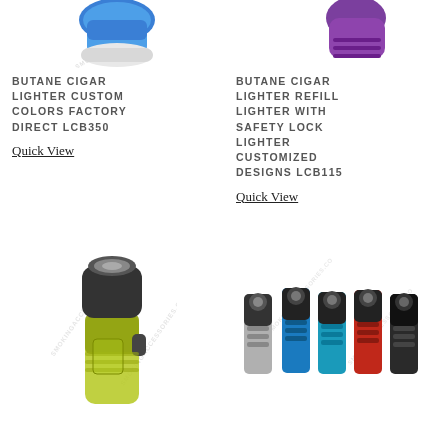[Figure (photo): Partial image of a blue butane cigar lighter, cropped at top]
[Figure (photo): Partial image of a purple/black butane cigar lighter, cropped at top]
BUTANE CIGAR LIGHTER CUSTOM COLORS FACTORY DIRECT LCB350
Quick View
BUTANE CIGAR LIGHTER REFILL LIGHTER WITH SAFETY LOCK LIGHTER CUSTOMIZED DESIGNS LCB115
Quick View
[Figure (photo): Green and black butane torch lighter with transparent green body and dark top]
[Figure (photo): Five butane lighters in a row: silver, blue, blue, red, black colors]